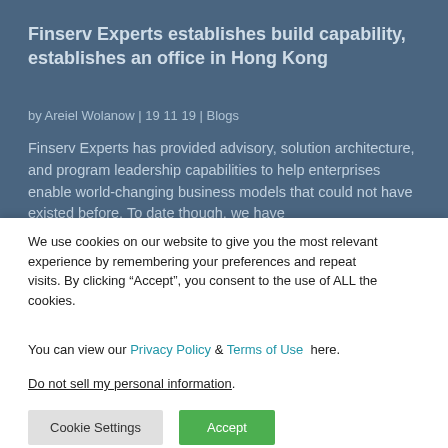Finserv Experts establishes build capability, establishes an office in Hong Kong
by Areiel Wolanow | 19 11 19 | Blogs
Finserv Experts has provided advisory, solution architecture, and program leadership capabilities to help enterprises enable world-changing business models that could not have existed before. To date though, we have
We use cookies on our website to give you the most relevant experience by remembering your preferences and repeat visits. By clicking “Accept”, you consent to the use of ALL the cookies.
You can view our Privacy Policy & Terms of Use here.
Do not sell my personal information.
Cookie Settings | Accept